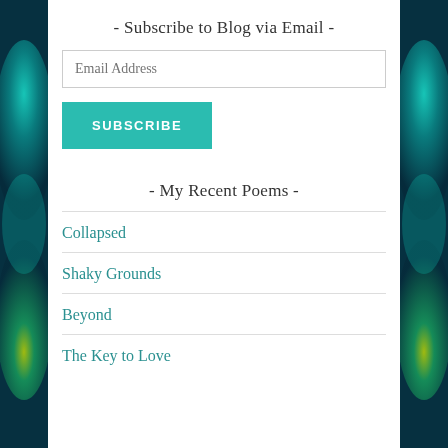- Subscribe to Blog via Email -
Email Address
SUBSCRIBE
- My Recent Poems -
Collapsed
Shaky Grounds
Beyond
The Key to Love